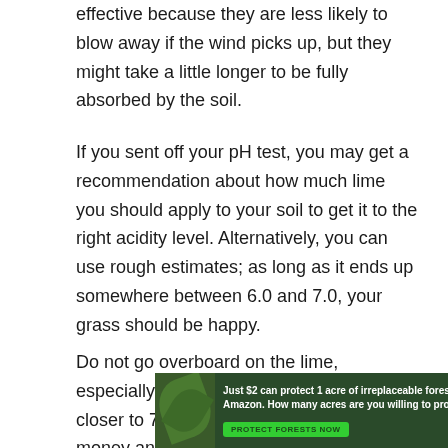effective because they are less likely to blow away if the wind picks up, but they might take a little longer to be fully absorbed by the soil.
If you sent off your pH test, you may get a recommendation about how much lime you should apply to your soil to get it to the right acidity level. Alternatively, you can use rough estimates; as long as it ends up somewhere between 6.0 and 7.0, your grass should be happy.
Do not go overboard on the lime, especially if your original pH reading was closer to 7.0 than 6.0. This is a waste of money and could damage your grass
[Figure (other): Advertisement banner: Just $2 can protect 1 acre of irreplaceable forest homes in the Amazon. How many acres are you willing to protect? [PROTECT FORESTS NOW button]]